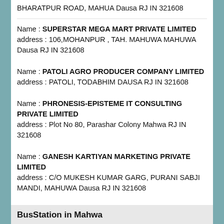BHARATPUR ROAD, MAHUA Dausa RJ IN 321608
Name : SUPERSTAR MEGA MART PRIVATE LIMITED
address : 106,MOHANPUR , TAH. MAHUWA MAHUWA Dausa RJ IN 321608
Name : PATOLI AGRO PRODUCER COMPANY LIMITED
address : PATOLI, TODABHIM DAUSA RJ IN 321608
Name : PHRONESIS-EPISTEME IT CONSULTING PRIVATE LIMITED
address : Plot No 80, Parashar Colony Mahwa RJ IN 321608
Name : GANESH KARTIYAN MARKETING PRIVATE LIMITED
address : C/O MUKESH KUMAR GARG, PURANI SABJI MANDI, MAHUWA Dausa RJ IN 321608
More Mahwa Registered Companies
BusStation in Mahwa